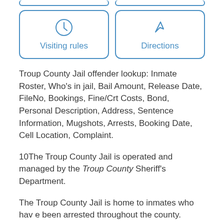[Figure (other): Two button cards: 'Visiting rules' with a clock icon and 'Directions' with a navigation arrow icon, both styled with blue borders and blue text.]
Troup County Jail offender lookup: Inmate Roster, Who's in jail, Bail Amount, Release Date, FileNo, Bookings, Fine/Crt Costs, Bond, Personal Description, Address, Sentence Information, Mugshots, Arrests, Booking Date, Cell Location, Complaint.
10The Troup County Jail is operated and managed by the Troup County Sheriff's Department.
The Troup County Jail is home to inmates who have been arrested throughout the county. However, the Troup County Jail does not only house inmates who have been arrested and are currently going through the judicial system, but they also house inma